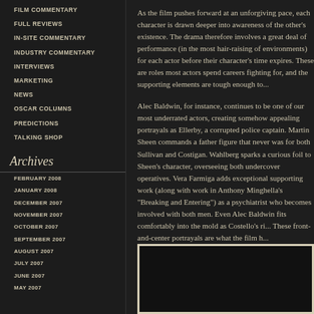FILM COMMENTARY
FULL REVIEWS
IN-SITE COMMENTARY
INDUSTRY COMMENTARY
INTERVIEWS
MARKETING
NEWS
OSCAR COLUMNS
PREDICTIONS
TALKING SHOP
Archives
FEBRUARY 2008
JANUARY 2008
DECEMBER 2007
NOVEMBER 2007
OCTOBER 2007
SEPTEMBER 2007
AUGUST 2007
JULY 2007
JUNE 2007
MAY 2007
As the film pushes forward at an unforgiving pace, each character is drawn deeper into awareness of the other's existence. The drama therefore involves a great deal of performance (in the most hair-raising of environments) for each actor before their character's time expires. These are roles most actors spend careers fighting for, and the supporting elements are tough enough to...
Alec Baldwin, for instance, continues to be one of our most underrated actors, creating somehow appealing portrayals as Ellerby, a corrupted police captain. Martin Sheen commands a father figure that never was for both Sullivan and Costigan. Wahlberg sparks a curious foil to Sheen's character, overseeing both undercover operatives. Vera Farmiga adds exceptional supporting work (along with work in Anthony Minghella's "Breaking and Entering") as a psychiatrist who becomes involved with both men. Even Alec Baldwin fits comfortably into the mold as Costello's ri... These front-and-center portrayals are what the film h...
[Figure (photo): A dark framed image/still from a film]